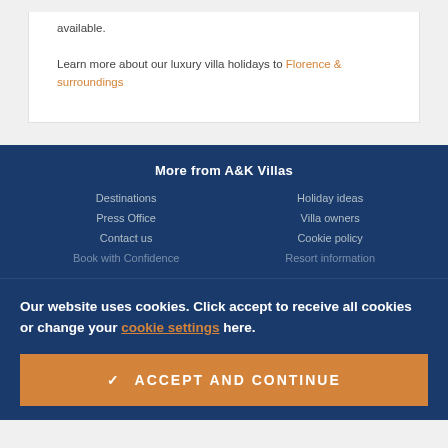available.
Learn more about our luxury villa holidays to Florence & surroundings
More from A&K Villas
Destinations
Holiday ideas
Press Office
Villa owners
Contact us
Cookie policy
Book with Confidence
Resort information
Our website uses cookies. Click accept to receive all cookies or change your cookie settings here.
✓ ACCEPT AND CONTINUE